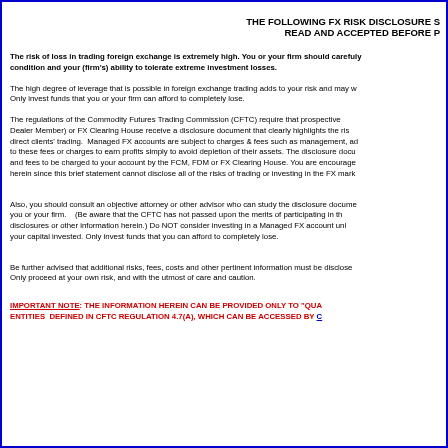THE FOLLOWING FX RISK DISCLOSURE S... READ AND ACCEPTED BEFORE P...
The risk of loss in trading foreign exchange is extremely high. You or your firm should carefully consider your financial condition and your (firm's) ability to tolerate extreme investment losses.
The high degree of leverage that is possible in foreign exchange trading adds to your risk and may work against you as well as for you. Only invest funds that you or your firm can afford to completely lose.
The regulations of the Commodity Futures Trading Commission (CFTC) require that prospective ... Dealer Member) or FX Clearing House receive a disclosure document that clearly highlights the ris... direct clients' trading. Managed FX accounts are subject to charges & fees such as management, ad... to these fees or charges to earn profits simply to avoid depletion of their assets. The disclosure docu... and fees to be charged to your account by the FCM, FDM or FX Clearing House. You are encourage... herein since this brief statement cannot disclose all of the risks of trading or investing in the FX mark...
Also, you should consult an objective attorney or other advisor who can study the disclosure docume... you or your firm. (Be aware that the CFTC has not passed upon the merits of participating in th... disclosures or other information herein.) Do NOT consider investing in a Managed FX account unl... your capital invested. Only invest funds that you can afford to completely lose.
Be further advised that additional risks, fees, costs and other pertinent information must be disclose... Only proceed at your own risk, and with the utmost of care and caution.
IMPORTANT NOTE: THE INFORMATION HEREIN CAN BE PROVIDED ONLY TO "QUA... ENTITIES DEFINED IN CFTC REGULATION 4.7(A), WHICH CAN BE ACCESSED BY C...